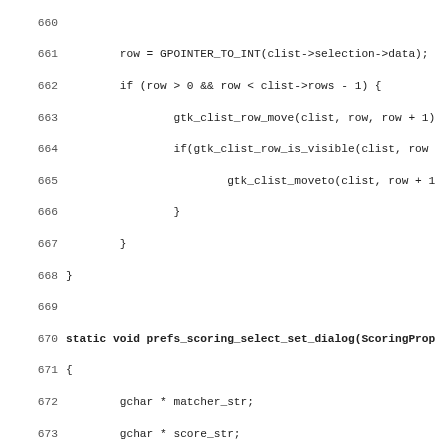[Figure (screenshot): Source code listing in monospace font showing C code lines 660-691, including functions with gtk_clist operations and prefs_scoring_select_set_dialog function definition.]